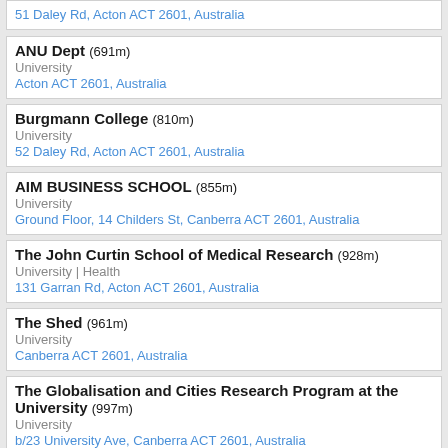51 Daley Rd, Acton ACT 2601, Australia
ANU Dept (691m)
University
Acton ACT 2601, Australia
Burgmann College (810m)
University
52 Daley Rd, Acton ACT 2601, Australia
AIM BUSINESS SCHOOL (855m)
University
Ground Floor, 14 Childers St, Canberra ACT 2601, Australia
The John Curtin School of Medical Research (928m)
University | Health
131 Garran Rd, Acton ACT 2601, Australia
The Shed (961m)
University
Canberra ACT 2601, Australia
The Globalisation and Cities Research Program at the University (997m)
University
b/23 University Ave, Canberra ACT 2601, Australia
Submit a review for Packard Wing